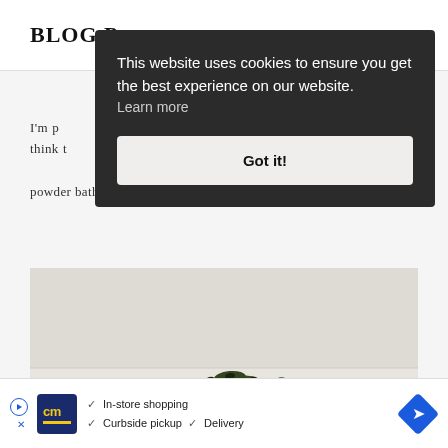BLOG P
I'm pu think t powder bathroom.
[Figure (photo): A green succulent plant (jade plant) photographed against a light beige/grey wall background, plant sits at lower center of frame]
This website uses cookies to ensure you get the best experience on our website. Learn more
Got it!
[Figure (infographic): Advertisement bar: CM logo with yellow text on dark blue background. Checkmarks for: In-store shopping, Curbside pickup, Delivery. Blue diamond navigation icon on right.]